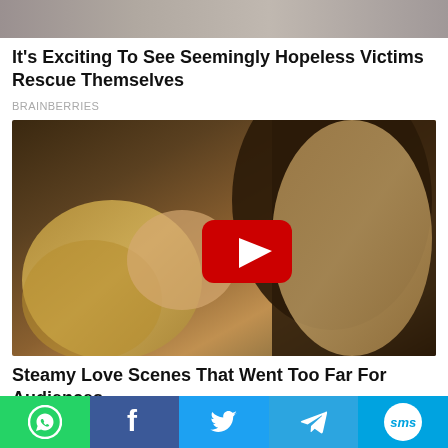[Figure (photo): Cropped top portion of an image showing people]
It's Exciting To See Seemingly Hopeless Victims Rescue Themselves
BRAINBERRIES
[Figure (screenshot): Video thumbnail showing two people in an intimate scene with a YouTube play button overlay]
Steamy Love Scenes That Went Too Far For Audiences
TRAITSLAB
[Figure (infographic): Social share bar with WhatsApp, Facebook, Twitter, Telegram, and SMS buttons]